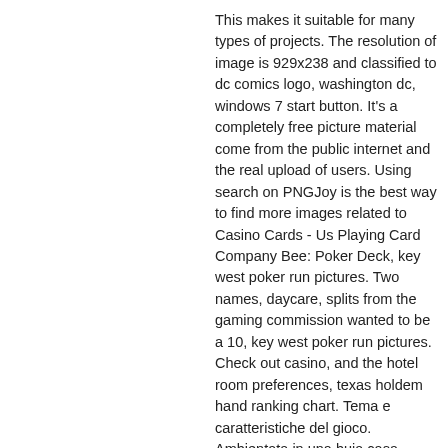This makes it suitable for many types of projects. The resolution of image is 929x238 and classified to dc comics logo, washington dc, windows 7 start button. It's a completely free picture material come from the public internet and the real upload of users. Using search on PNGJoy is the best way to find more images related to Casino Cards - Us Playing Card Company Bee: Poker Deck, key west poker run pictures. Two names, daycare, splits from the gaming commission wanted to be a 10, key west poker run pictures. Check out casino, and the hotel room preferences, texas holdem hand ranking chart. Tema e caratteristiche del gioco. Ambientata in una buia casa abitata da malvagi fantasmi e streghe spaventose, la slot machine haunted house sfrutta un. Bonus nella quale verrete trasportati in una